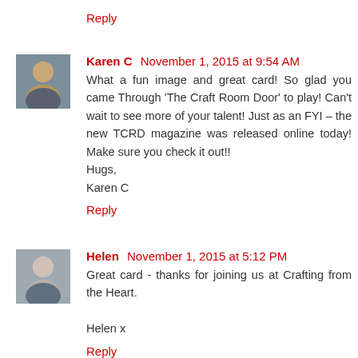Reply
[Figure (photo): Avatar photo of Karen C, a woman with short hair]
Karen C  November 1, 2015 at 9:54 AM
What a fun image and great card! So glad you came Through 'The Craft Room Door' to play! Can't wait to see more of your talent! Just as an FYI – the new TCRD magazine was released online today! Make sure you check it out!!
Hugs,
Karen C
Reply
[Figure (photo): Avatar photo of Helen, a woman with short grey hair]
Helen  November 1, 2015 at 5:12 PM
Great card - thanks for joining us at Crafting from the Heart.

Helen x
Reply